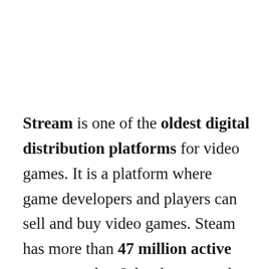Stream is one of the oldest digital distribution platforms for video games. It is a platform where game developers and players can sell and buy video games. Steam has more than 47 million active users per day. It has been popular because of its improvement in better accommodating users. At first, they were giving service to PC games, after this, it has been available to Xbox and Sony PlayStation, among others.